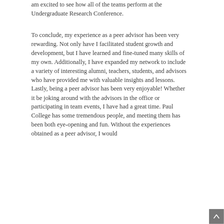am excited to see how all of the teams perform at the Undergraduate Research Conference.
To conclude, my experience as a peer advisor has been very rewarding. Not only have I facilitated student growth and development, but I have learned and fine-tuned many skills of my own. Additionally, I have expanded my network to include a variety of interesting alumni, teachers, students, and advisors who have provided me with valuable insights and lessons. Lastly, being a peer advisor has been very enjoyable! Whether it be joking around with the advisors in the office or participating in team events, I have had a great time. Paul College has some tremendous people, and meeting them has been both eye-opening and fun. Without the experiences obtained as a peer advisor, I would